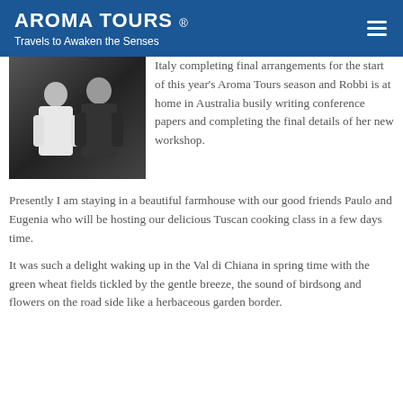AROMA TOURS ® — Travels to Awaken the Senses
[Figure (photo): Photo of a man and woman (couple) standing together, woman in white top, man in dark shirt, dark background]
Italy completing final arrangements for the start of this year's Aroma Tours season and Robbi is at home in Australia busily writing conference papers and completing the final details of her new workshop.
Presently I am staying in a beautiful farmhouse with our good friends Paulo and Eugenia who will be hosting our delicious Tuscan cooking class in a few days time.
It was such a delight waking up in the Val di Chiana in spring time with the green wheat fields tickled by the gentle breeze, the sound of birdsong and flowers on the road side like a herbaceous garden border.